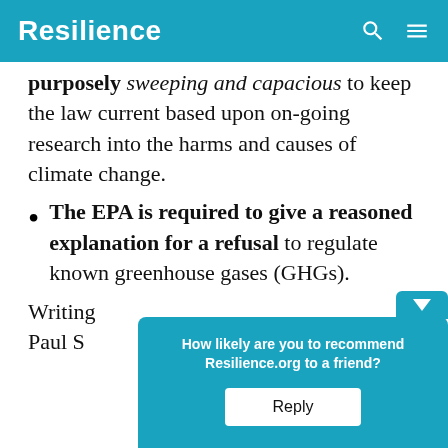Resilience
purposely sweeping and capacious to keep the law current based upon on-going research into the harms and causes of climate change.
The EPA is required to give a reasoned explanation for a refusal to regulate known greenhouse gases (GHGs).
Writing
Paul S